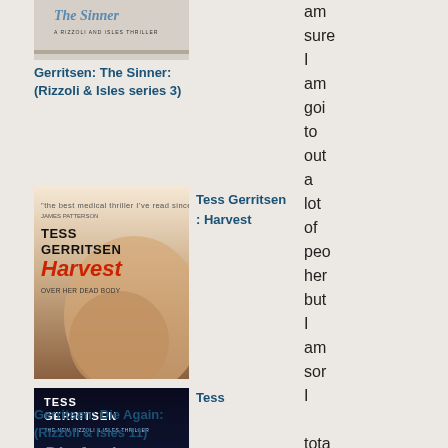[Figure (illustration): Book cover: The Sinner by Tess Gerritsen, A Rizzoli and Isles Thriller]
Gerritsen: The Sinner: (Rizzoli & Isles series 3)
[Figure (illustration): Book cover: Tess Gerritsen - Harvest, Over Her Dead Body]
Tess Gerritsen : Harvest
[Figure (illustration): Book cover: Tess Gerritsen - Die Again, The New Rizzoli & Isles Thriller]
Tess
Gerritsen: Die Again: (Rizzoli & Isles 11)
am sure I am going to out a lot of people here but I am sorry I totally disagree with the equal prize